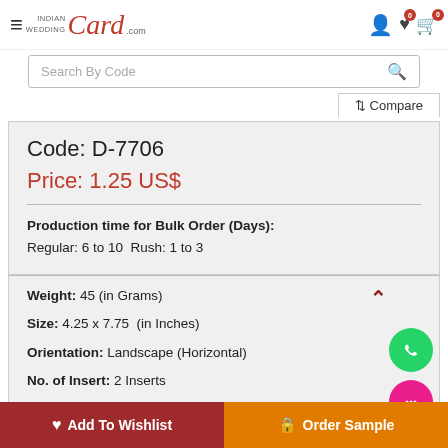Indian Wedding Card .com — Search By Code
Compare
Code: D-7706
Price: 1.25 US$
Production time for Bulk Order (Days): Regular: 6 to 10  Rush: 1 to 3
Weight: 45 (in Grams)
Size: 4.25 x 7.75  (in Inches)
Orientation: Landscape (Horizontal)
No. of Insert: 2 Inserts
Order sample in the next
Add To Wishlist   Order Sample